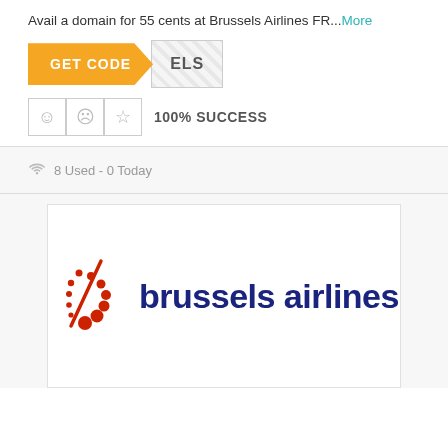Avail a domain for 55 cents at Brussels Airlines FR...More
[Figure (other): GET CODE button in orange with diagonal cut, next to a hatched coupon code box showing 'ELS']
[Figure (other): Rating icons: smiley face, sad face, star — three bordered boxes — followed by '100% SUCCESS' text]
8 Used - 0 Today
[Figure (logo): Brussels Airlines logo: red dotted stylized 'b' icon with diagonal red lines, beside dark blue text 'brussels airlines']